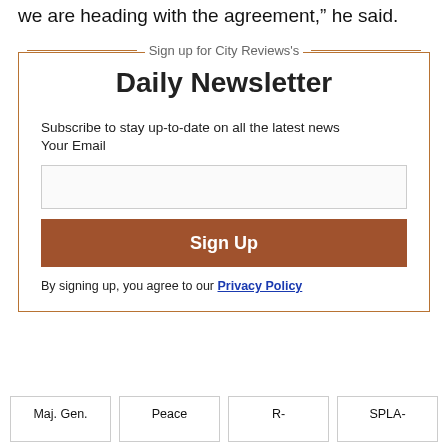we are heading with the agreement," he said.
Sign up for City Reviews's
Daily Newsletter
Subscribe to stay up-to-date on all the latest news
Your Email
Sign Up
By signing up, you agree to our Privacy Policy
Maj. Gen.
Peace
R-
SPLA-